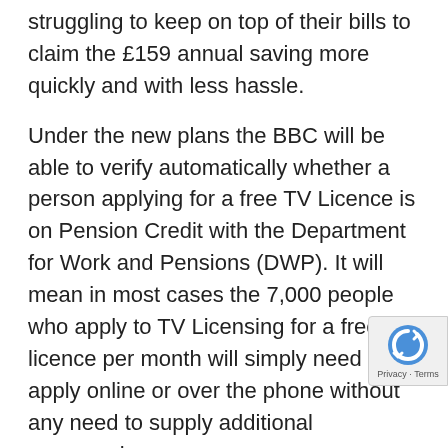struggling to keep on top of their bills to claim the £159 annual saving more quickly and with less hassle.
Under the new plans the BBC will be able to verify automatically whether a person applying for a free TV Licence is on Pension Credit with the Department for Work and Pensions (DWP). It will mean in most cases the 7,000 people who apply to TV Licensing for a free licence per month will simply need to apply online or over the phone without any need to supply additional paperwork.
In 2020 the BBC stopped providing free TV licences for all over-75s, but those in receipt of Pension Credit – a benefit which provides extra money for people on the state pension and on a low income – are still elig
Digital Secretary Nadine Dorries said: